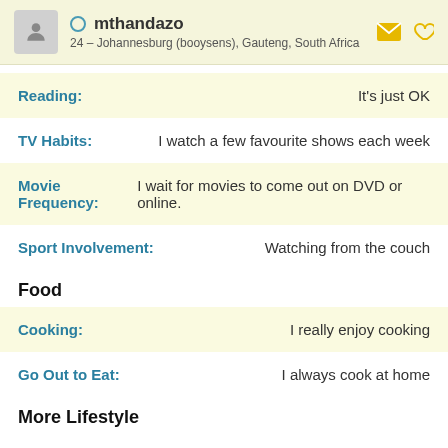mthandazo – 24 – Johannesburg (booysens), Gauteng, South Africa
Reading: It's just OK
TV Habits: I watch a few favourite shows each week
Movie Frequency: I wait for movies to come out on DVD or online.
Sport Involvement: Watching from the couch
Food
Cooking: I really enjoy cooking
Go Out to Eat: I always cook at home
More Lifestyle